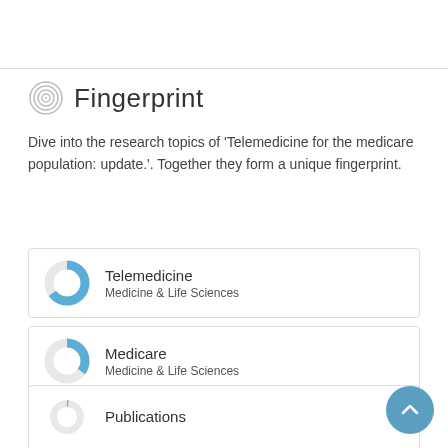Fingerprint
Dive into the research topics of 'Telemedicine for the medicare population: update.'. Together they form a unique fingerprint.
[Figure (infographic): Fingerprint card: donut chart (blue, ~90%) labeled 'Telemedicine / Medicine & Life Sciences']
[Figure (infographic): Fingerprint card: donut chart (blue, ~60%) labeled 'Medicare / Medicine & Life Sciences']
[Figure (infographic): Fingerprint card: donut chart (blue, ~40%) labeled 'Population / Medicine & Life Sciences']
[Figure (infographic): Partial fingerprint card (cut off at bottom): donut chart labeled 'Publications']